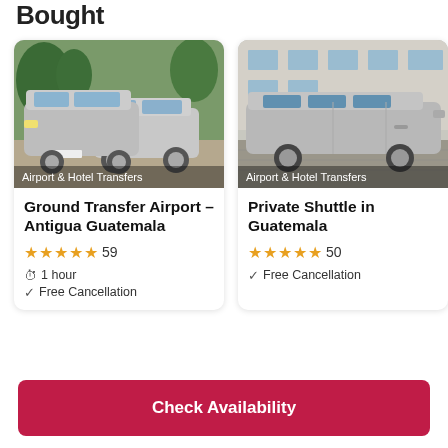Bought
[Figure (photo): Photo of two silver Hyundai minivans parked outdoors with trees in background, labeled Airport & Hotel Transfers]
Ground Transfer Airport - Antigua Guatemala
★★★★★ 59
1 hour
Free Cancellation
[Figure (photo): Photo of a silver Hyundai minivan parked on cobblestone street in front of building, labeled Airport & Hotel Transfers]
Private Shuttle in Guatemala
★★★★★ 50
Free Cancellation
Check Availability